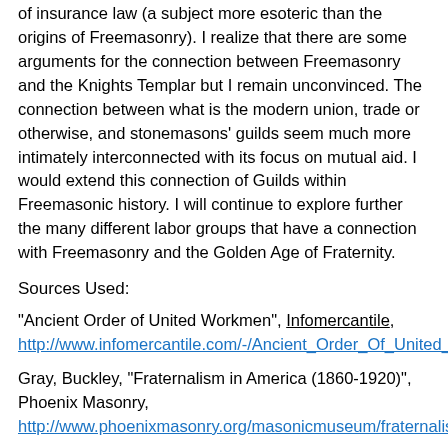of insurance law (a subject more esoteric than the origins of Freemasonry). I realize that there are some arguments for the connection between Freemasonry and the Knights Templar but I remain unconvinced. The connection between what is the modern union, trade or otherwise, and stonemasons' guilds seem much more intimately interconnected with its focus on mutual aid. I would extend this connection of Guilds within Freemasonic history. I will continue to explore further the many different labor groups that have a connection with Freemasonry and the Golden Age of Fraternity.
Sources Used:
"Ancient Order of United Workmen", Infomercantile, http://www.infomercantile.com/-/Ancient_Order_Of_United_Workmen
Gray, Buckley, "Fraternalism in America (1860-1920)", Phoenix Masonry, http://www.phoenixmasonry.org/masonicmuseum/fraternalism/fraternalism_in_america.htm